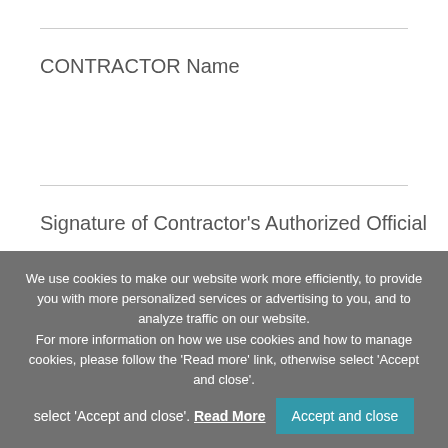CONTRACTOR Name
Signature of Contractor's Authorized Official
We use cookies to make our website work more efficiently, to provide you with more personalized services or advertising to you, and to analyze traffic on our website. For more information on how we use cookies and how to manage cookies, please follow the 'Read more' link, otherwise select 'Accept and close'. Read More  Accept and close